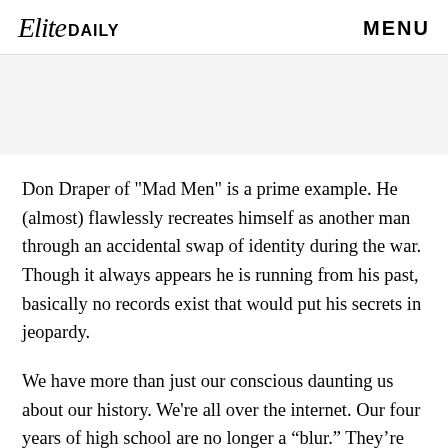Elite DAILY   MENU
[Figure (other): Gray advertisement banner area]
Don Draper of "Mad Men" is a prime example. He (almost) flawlessly recreates himself as another man through an accidental swap of identity during the war. Though it always appears he is running from his past, basically no records exist that would put his secrets in jeopardy.
We have more than just our conscious daunting us about our history. We're all over the internet. Our four years of high school are no longer a “blur.” They’re